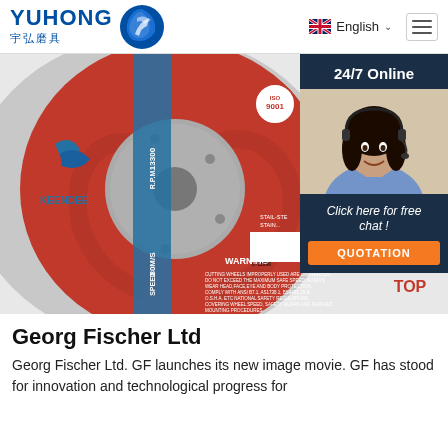YUHONG 宇弘磨具 | English
[Figure (photo): Close-up photo of a red and grey KEENDEE brand cutting/grinding wheel disc showing RPM 13300, SPEED 80M/S, WARNING text, ISO 9001 certification badge, and barcode 6-210906]
[Figure (photo): Chat widget overlay: '24/7 Online' header with photo of smiling woman with headset, 'Click here for free chat!' text, and orange QUOTATION button]
Georg Fischer Ltd
Georg Fischer Ltd. GF launches its new image movie. GF has stood for innovation and technological progress for